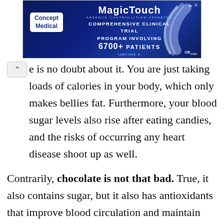[Figure (other): Advertisement banner for Concept Medical MagicTouch comprehensive clinical trial program involving 6700+ patients]
e is no doubt about it. You are just taking loads of calories in your body, which only makes bellies fat. Furthermore, your blood sugar levels also rise after eating candies, and the risks of occurring any heart disease shoot up as well.
Contrarily, chocolate is not that bad. True, it also contains sugar, but it also has antioxidants that improve blood circulation and maintain blood pressure levels. Similarly, the flavonols in dark chocolate strengthen immunity and kill free